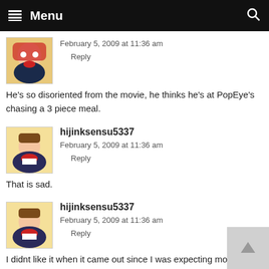Menu
February 5, 2009 at 11:36 am
    Reply

He's so disoriented from the movie, he thinks he's at PopEye's chasing a 3 piece meal.
hijinksensu5337
February 5, 2009 at 11:36 am
    Reply

That is sad.
hijinksensu5337
February 5, 2009 at 11:36 am
    Reply

I didnt like it when it came out since I was expecting more Waynes World type comedy, but I saw it a few years ago and...